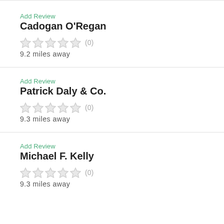Add Review
Cadogan O'Regan
(0)  9.2 miles away
Add Review
Patrick Daly & Co.
(0)  9.3 miles away
Add Review
Michael F. Kelly
(0)  9.3 miles away